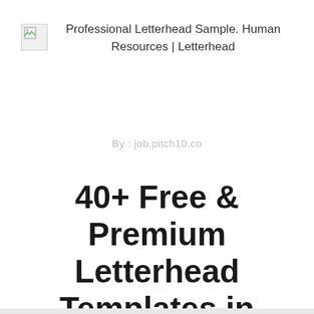[Figure (other): Broken image thumbnail placeholder icon in top-left corner]
Professional Letterhead Sample. Human Resources | Letterhead
By : job.pitch10.co
40+ Free & Premium Letterhead Templates in Multiple Formats